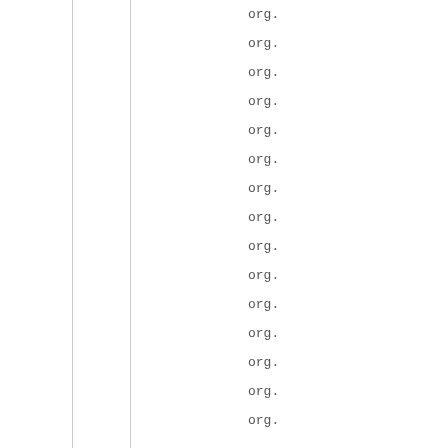org.
org.
org.
org.
org.
org.
org.
org.
org.
org.
org.
org.
org.
org.
org.